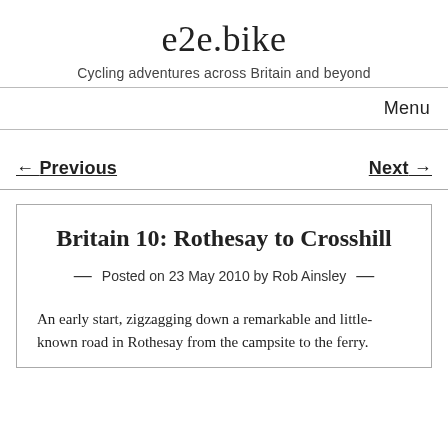e2e.bike
Cycling adventures across Britain and beyond
Menu
← Previous
Next →
Britain 10: Rothesay to Crosshill
Posted on 23 May 2010 by Rob Ainsley
An early start, zigzagging down a remarkable and little-known road in Rothesay from the campsite to the ferry.